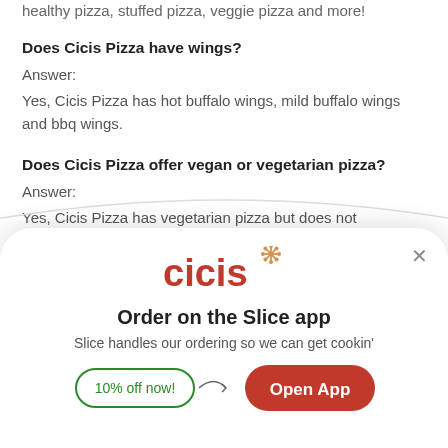healthy pizza, stuffed pizza, veggie pizza and more!
Does Cicis Pizza have wings?
Answer:
Yes, Cicis Pizza has hot buffalo wings, mild buffalo wings and bbq wings.
Does Cicis Pizza offer vegan or vegetarian pizza?
Answer:
Yes, Cicis Pizza has vegetarian pizza but does not have vegan pi...
[Figure (logo): Cicis pizza logo in red with a decorative snowflake/asterisk symbol in orange]
Order on the Slice app
Slice handles our ordering so we can get cookin'
10% off now!
Open App